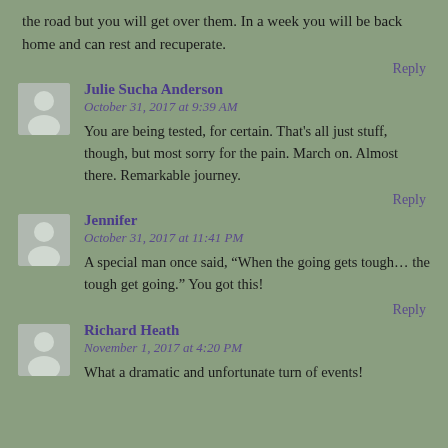the road but you will get over them. In a week you will be back home and can rest and recuperate.
Reply
Julie Sucha Anderson
October 31, 2017 at 9:39 AM
You are being tested, for certain. That's all just stuff, though, but most sorry for the pain. March on. Almost there. Remarkable journey.
Reply
Jennifer
October 31, 2017 at 11:41 PM
A special man once said, “When the going gets tough… the tough get going.” You got this!
Reply
Richard Heath
November 1, 2017 at 4:20 PM
What a dramatic and unfortunate turn of events!